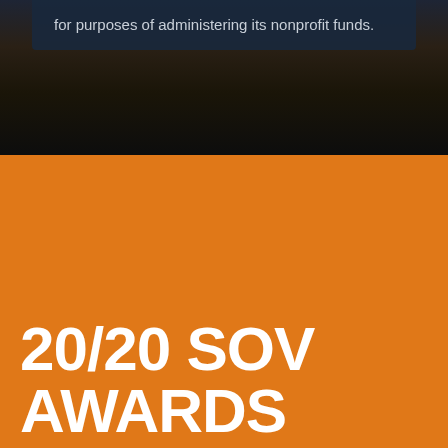for purposes of administering its nonprofit funds.
[Figure (photo): Dark background section with blurred photo background, containing a dark navy text box overlay]
20/20 SOV AWARDS